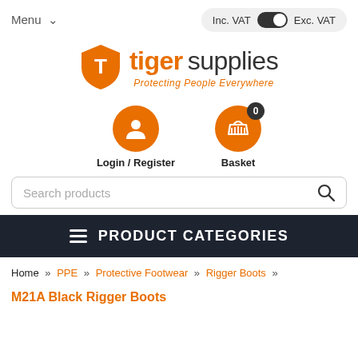Menu  Inc. VAT  Exc. VAT
[Figure (logo): Tiger Supplies logo with orange shield icon and text 'tigersupplies' with tagline 'Protecting People Everywhere']
[Figure (infographic): Login/Register icon (orange circle with person silhouette) and Basket icon (orange circle with basket and badge showing 0)]
Search products
PRODUCT CATEGORIES
Home » PPE » Protective Footwear » Rigger Boots »
M21A Black Rigger Boots